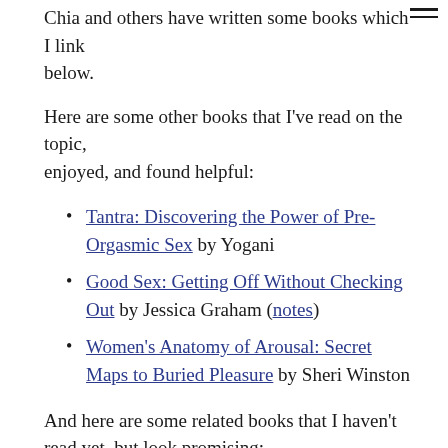Chia and others have written some books which I link below.
Here are some other books that I've read on the topic, enjoyed, and found helpful:
Tantra: Discovering the Power of Pre-Orgasmic Sex by Yogani
Good Sex: Getting Off Without Checking Out by Jessica Graham (notes)
Women's Anatomy of Arousal: Secret Maps to Buried Pleasure by Sheri Winston
And here are some related books that I haven't read yet, but look promising: